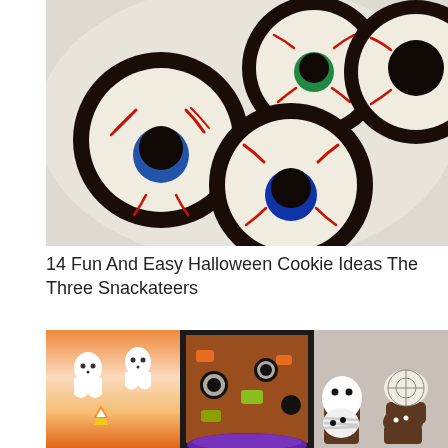[Figure (photo): Overhead photo of Oreo cookies decorated as eyeballs with white frosting, red icing veins, chocolate candy pupils, and blue/green iris details on a light background]
14 Fun And Easy Halloween Cookie Ideas The Three Snackateers
[Figure (photo): Collage of Halloween treats: ghost candy corn dip, Halloween bark with Oreos and orange/black candy melts, and Halloween cupcakes decorated as ghosts, spiders, and mummies]